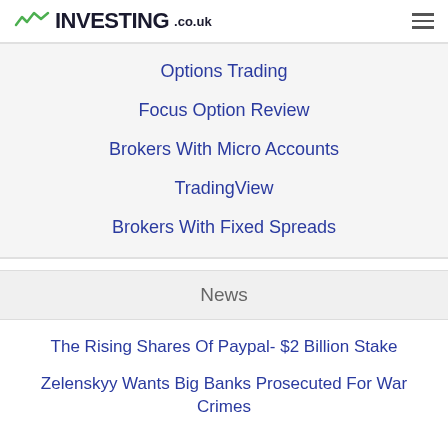INVESTING.co.uk
Options Trading
Focus Option Review
Brokers With Micro Accounts
TradingView
Brokers With Fixed Spreads
News
The Rising Shares Of Paypal- $2 Billion Stake
Zelenskyy Wants Big Banks Prosecuted For War Crimes